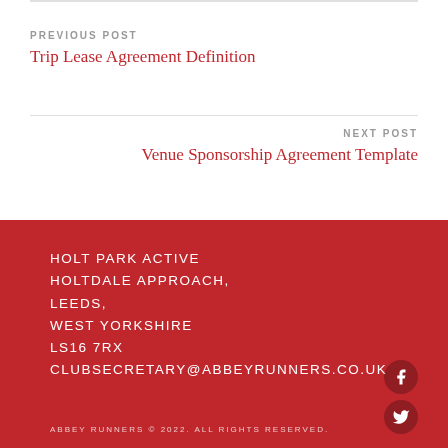PREVIOUS POST
Trip Lease Agreement Definition
NEXT POST
Venue Sponsorship Agreement Template
HOLT PARK ACTIVE
HOLTDALE APPROACH,
LEEDS,
WEST YORKSHIRE
LS16 7RX
CLUBSECRETARY@ABBEYRUNNERS.CO.UK
ABBEY RUNNERS © 2022. ALL RIGHTS RESERVED.